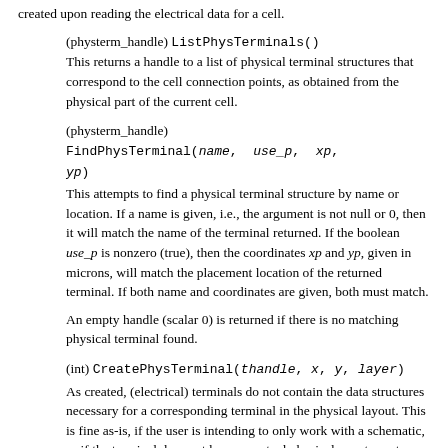created upon reading the electrical data for a cell.
(physterm_handle) ListPhysTerminals()
This returns a handle to a list of physical terminal structures that correspond to the cell connection points, as obtained from the physical part of the current cell.
(physterm_handle) FindPhysTerminal(name, use_p, xp, yp)
This attempts to find a physical terminal structure by name or location. If a name is given, i.e., the argument is not null or 0, then it will match the name of the terminal returned. If the boolean use_p is nonzero (true), then the coordinates xp and yp, given in microns, will match the placement location of the returned terminal. If both name and coordinates are given, both must match.
An empty handle (scalar 0) is returned if there is no matching physical terminal found.
(int) CreatePhysTerminal(thandle, x, y, layer)
As created, (electrical) terminals do not contain the data structures necessary for a corresponding terminal in the physical layout. This is fine as-is, if the user is intending to only work with a schematic, or if the terminal does not have an actual physical counterpart. However, in general one must